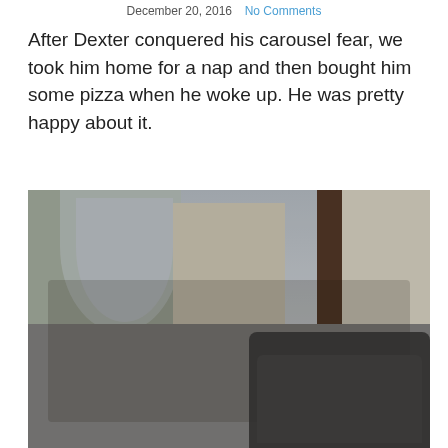December 20, 2016   No Comments
After Dexter conquered his carousel fear, we took him home for a nap and then bought him some pizza when he woke up. He was pretty happy about it.
[Figure (photo): Outdoor café scene in an Italian piazza. People seated at tables under arched colonnaded building. A baby stroller is visible in the foreground lower right. Cobblestone street with pedestrians walking in the background.]